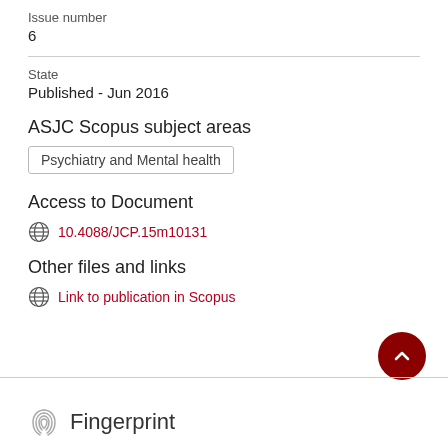Issue number
6
State
Published - Jun 2016
ASJC Scopus subject areas
Psychiatry and Mental health
Access to Document
10.4088/JCP.15m10131
Other files and links
Link to publication in Scopus
Fingerprint